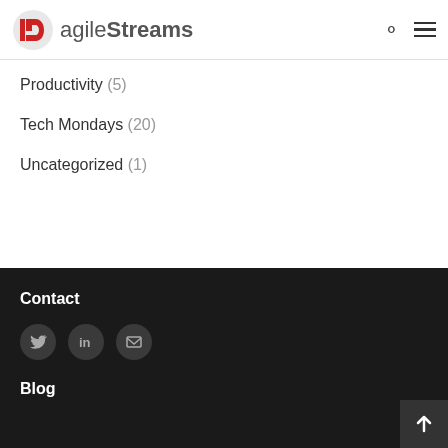agileStreams
Productivity (5)
Tech Mondays (20)
Uncategorized (1)
Contact
[Figure (other): Social media icons: Twitter, LinkedIn, Email]
Blog